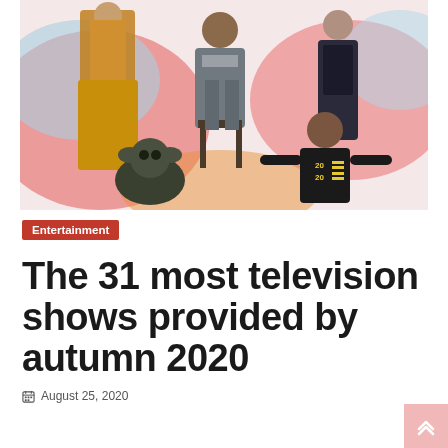[Figure (photo): Promotional collage image featuring several TV show characters: a woman in a yellow/mustard outfit, a man in a gray suit seated on a chair, a woman in dark clothing, Baby Yoda from The Mandalorian, and a woman in a black shirt with '2020' graphic, set against a colorful pink and light blue background.]
Entertainment
The 31 most television shows provided by autumn 2020
August 25, 2020